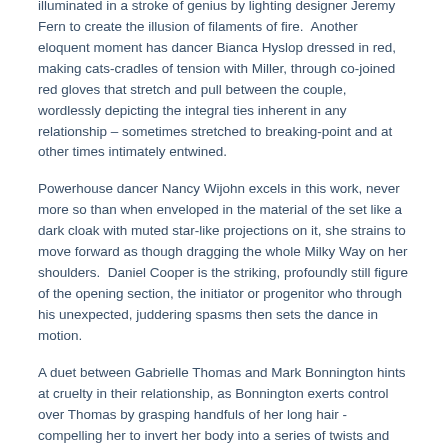illuminated in a stroke of genius by lighting designer Jeremy Fern to create the illusion of filaments of fire.  Another eloquent moment has dancer Bianca Hyslop dressed in red, making cats-cradles of tension with Miller, through co-joined red gloves that stretch and pull between the couple, wordlessly depicting the integral ties inherent in any relationship – sometimes stretched to breaking-point and at other times intimately entwined.
Powerhouse dancer Nancy Wijohn excels in this work, never more so than when enveloped in the material of the set like a dark cloak with muted star-like projections on it, she strains to move forward as though dragging the whole Milky Way on her shoulders.  Daniel Cooper is the striking, profoundly still figure of the opening section, the initiator or progenitor who through his unexpected, juddering spasms then sets the dance in motion.
A duet between Gabrielle Thomas and Mark Bonnington hints at cruelty in their relationship, as Bonnington exerts control over Thomas by grasping handfuls of her long hair - compelling her to invert her body into a series of twists and turns as though oppressed by a greater power.
The finale of fast moving rhythmic work is slightly at odds with the previous material, in which many of the depictions of struggle or pain remain (perhaps intentionally) unresolved.  But it is at this point that the dancers collectively assert it...